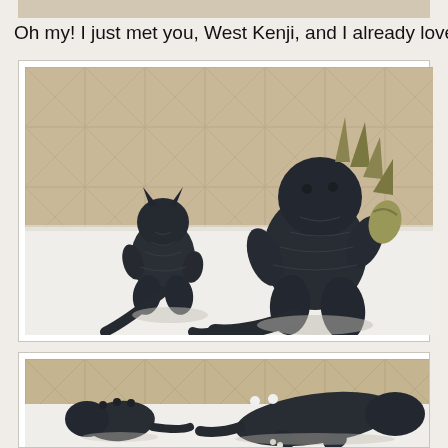[Figure (photo): Partial top edge of a photo, cropped at top of page]
Oh my! I just met you, West Kenji, and I already love you.
[Figure (photo): Two dark Godzilla-style toy figures on a white surface with tile background. Small figure on left viewed from behind, larger figure on right holding something yellow-green.]
[Figure (photo): Two dark Godzilla-style toy figures lying down on white surface, viewed from side, with tile background.]